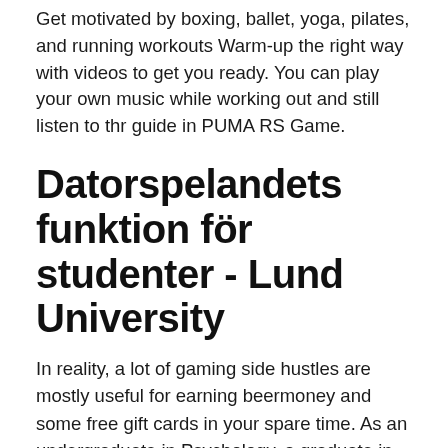Get motivated by boxing, ballet, yoga, pilates, and running workouts Warm-up the right way with videos to get you ready. You can play your own music while working out and still listen to thr guide in PUMA RS Game.
Datorspelandets funktion för studenter - Lund University
In reality, a lot of gaming side hustles are mostly useful for earning beermoney and some free gift cards in your spare time. As an undergraduate in Psychology, a graduate in Marketing and as someone who works in the gaming industry, I've